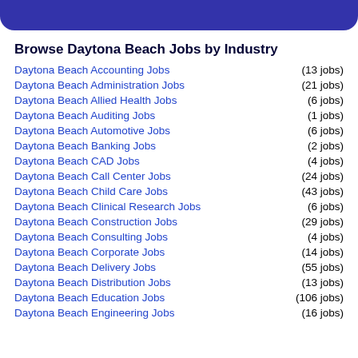Browse Daytona Beach Jobs by Industry
Daytona Beach Accounting Jobs (13 jobs)
Daytona Beach Administration Jobs (21 jobs)
Daytona Beach Allied Health Jobs (6 jobs)
Daytona Beach Auditing Jobs (1 jobs)
Daytona Beach Automotive Jobs (6 jobs)
Daytona Beach Banking Jobs (2 jobs)
Daytona Beach CAD Jobs (4 jobs)
Daytona Beach Call Center Jobs (24 jobs)
Daytona Beach Child Care Jobs (43 jobs)
Daytona Beach Clinical Research Jobs (6 jobs)
Daytona Beach Construction Jobs (29 jobs)
Daytona Beach Consulting Jobs (4 jobs)
Daytona Beach Corporate Jobs (14 jobs)
Daytona Beach Delivery Jobs (55 jobs)
Daytona Beach Distribution Jobs (13 jobs)
Daytona Beach Education Jobs (106 jobs)
Daytona Beach Engineering Jobs (16 jobs)